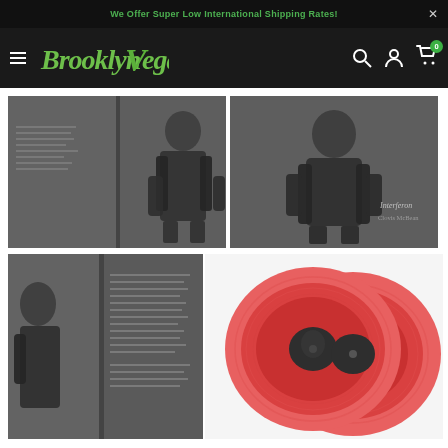We Offer Super Low International Shipping Rates!
[Figure (logo): BrooklynVegan logo in green italic font on dark navigation bar with hamburger menu, search icon, account icon, and cart icon showing badge 0]
[Figure (photo): Open gatefold vinyl record album showing inner sleeve with person in dark coat against grey background, left panel]
[Figure (photo): Album front cover showing person in dark coat against grey background with text 'Interferon' and artist name]
[Figure (photo): Album back cover/inner sleeve showing person in dark coat with track listing text]
[Figure (photo): Two red/coral colored vinyl records overlapping, shown from above]